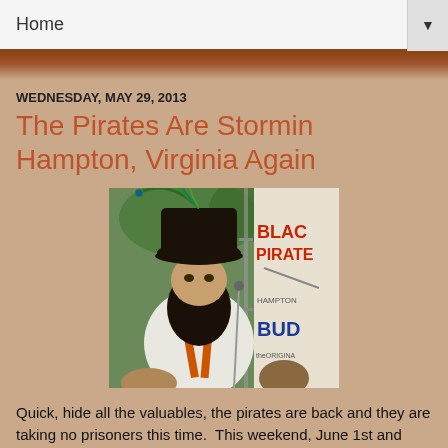Home
WEDNESDAY, MAY 29, 2013
The Pirates Are Stormin Hampton, Virginia Again
[Figure (photo): A man dressed as a pirate with a large black hat adorned with peacock feathers and a long dark beard, standing outdoors near a Blackbeard Pirate festival banner and a Budweiser sign]
Quick, hide all the valuables, the pirates are back and they are taking no prisoners this time.  This weekend, June 1st and 2nd, the Hampton Blackbeard Pirate festival goes into